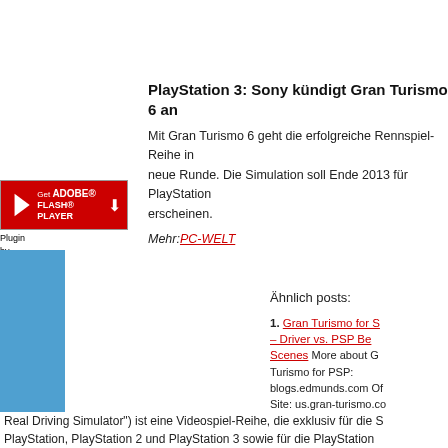PlayStation 3: Sony kündigt Gran Turismo 6 an
Mit Gran Turismo 6 geht die erfolgreiche Rennspiel-Reihe in eine neue Runde. Die Simulation soll Ende 2013 für PlayStation erscheinen.
Mehr: PC-WELT
[Figure (screenshot): Adobe Flash Player plugin download button with red background and flash logo]
Plugin by wpbum.de wordpress themes
Ähnlich posts:
Gran Turismo for S – Driver vs. PSP Be Scenes More about Gran Turismo for PSP: blogs.edmunds.com Of Site: us.gran-turismo.co Turismo for PSP Ad: www.youtube.com Mon PlayStation: www.youtu Chevy Corvette ZR1 vs GT-R Comparison Test www.youtube.com Vide by...
Turismo Gran Turis (PS1) 1/50 Gran Gran 1 Gran Turismo (Unter
Real Driving Simulator") ist eine Videospiel-Reihe, die exklusiv für die S PlayStation, PlayStation 2 und PlayStation 3 sowie für die PlayStation